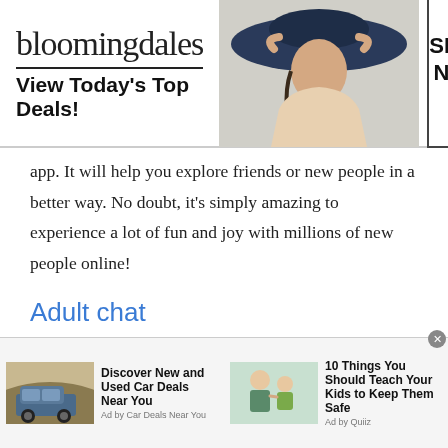[Figure (screenshot): Bloomingdale's advertisement banner: logo with 'bloomingdales', tagline 'View Today's Top Deals!', photo of woman in wide-brim hat, 'SHOP NOW >' button]
app. It will help you explore friends or new people in a better way. No doubt, it's simply amazing to experience a lot of fun and joy with millions of new people online!
Adult chat
Adult chat is all open for men and women who want to chit chat and learn new things via free online chat. Talk to strangers in Kenya at Talkwithstranger men
[Figure (screenshot): Bottom advertisement bar: 'Discover New and Used Car Deals Near You' Ad by Car Deals Near You, and '10 Things You Should Teach Your Kids to Keep Them Safe' Ad by Quiiz]